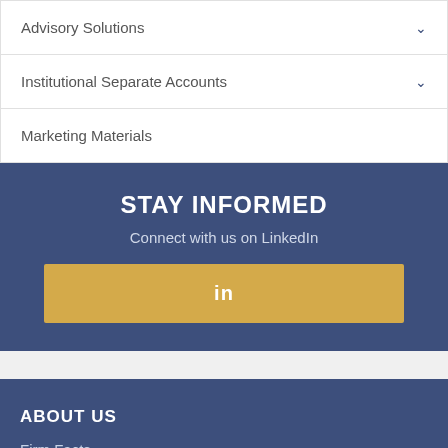Advisory Solutions
Institutional Separate Accounts
Marketing Materials
STAY INFORMED
Connect with us on LinkedIn
[Figure (other): LinkedIn button with 'in' logo]
ABOUT US
Firm Facts
Strategies
Timeline